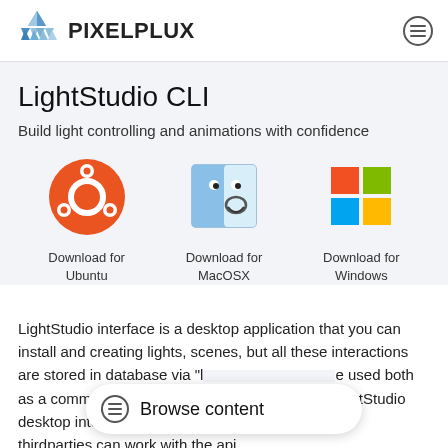PIXELPLUX
LightStudio CLI
Build light controlling and animations with confidence
[Figure (logo): Ubuntu logo - orange circle with Ubuntu symbol]
Download for Ubuntu
[Figure (logo): MacOSX Finder icon - blue square with smiling face]
Download for MacOSX
[Figure (logo): Windows logo - four colored squares (red, green, blue, yellow)]
Download for Windows
LightStudio interface is a desktop application that you can install and creating lights, scenes, but all these interactions are stored in database via "l... e used both as a command l... HTTP server so LightStudio desktop interface or other thirdparties can work with the api.